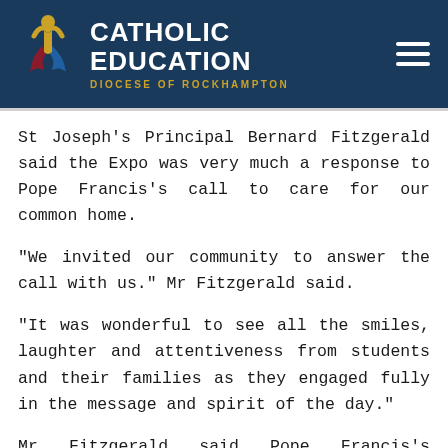CATHOLIC EDUCATION DIOCESE OF ROCKHAMPTON
St Joseph's Principal Bernard Fitzgerald said the Expo was very much a response to Pope Francis's call to care for our common home.
"We invited our community to answer the call with us." Mr Fitzgerald said.
"It was wonderful to see all the smiles, laughter and attentiveness from students and their families as they engaged fully in the message and spirit of the day."
Mr Fitzgerald said Pope Francis's encyclical appealed to all persons, no matter what religion, "for a new dialogue about how we are shaping the future of our planet".